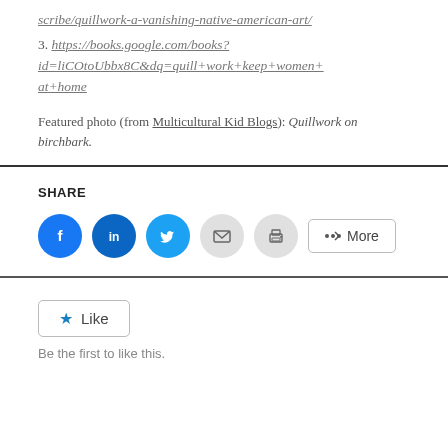scribe/quillwork-a-vanishing-native-american-art/
3. https://books.google.com/books?id=liCOtoUbbx8C&dq=quill+work+keep+women+at+home
Featured photo (from Multicultural Kid Blogs): Quillwork on birchbark.
SHARE
[Figure (other): Social share buttons: Facebook, LinkedIn, Twitter, Email, Print, and More]
[Figure (other): Like button with star icon and text 'Be the first to like this.']